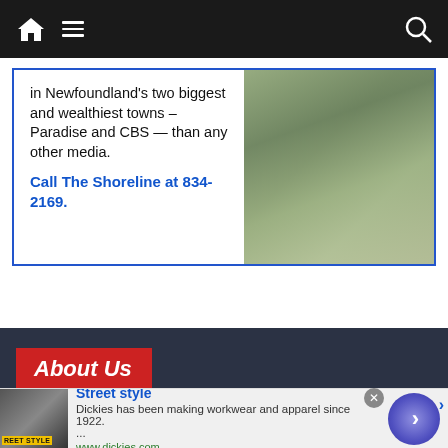Navigation bar with home icon, hamburger menu, and search icon
[Figure (infographic): Advertisement for The Shoreline News showing text about reaching readers in Newfoundland's two biggest and wealthiest towns – Paradise and CBS — than any other media. Call The Shoreline at 834-2169.]
About Us
The Shoreline News was founded in April of 1989 and is the LARGEST CIRCULATION COMMUNITY NEWSPAPER in the province of Newfoundland and Labrador. Serving more than
[Figure (infographic): Advertisement overlay: Street style. Dickies has been making workwear and apparel since 1922. ... www.dickies.com]